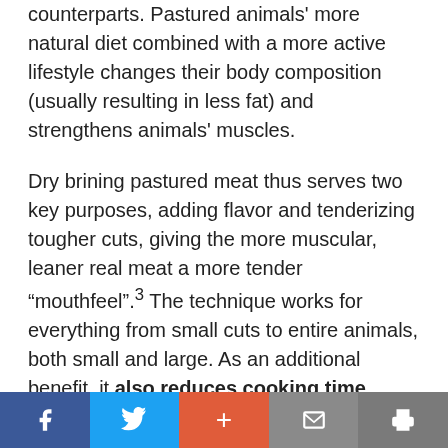counterparts. Pastured animals' more natural diet combined with a more active lifestyle changes their body composition (usually resulting in less fat) and strengthens animals' muscles.
Dry brining pastured meat thus serves two key purposes, adding flavor and tenderizing tougher cuts, giving the more muscular, leaner real meat a more tender “mouthfeel”.³ The technique works for everything from small cuts to entire animals, both small and large. As an additional benefit, it also reduces cooking time.
Facebook | Twitter | + | Mail | Print